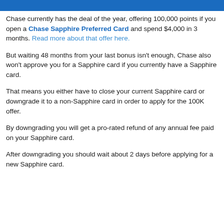BankDeals
Chase currently has the deal of the year, offering 100,000 points if you open a Chase Sapphire Preferred Card and spend $4,000 in 3 months. Read more about that offer here.
But waiting 48 months from your last bonus isn't enough, Chase also won't approve you for a Sapphire card if you currently have a Sapphire card.
That means you either have to close your current Sapphire card or downgrade it to a non-Sapphire card in order to apply for the 100K offer.
By downgrading you will get a pro-rated refund of any annual fee paid on your Sapphire card.
After downgrading you should wait about 2 days before applying for a new Sapphire card.